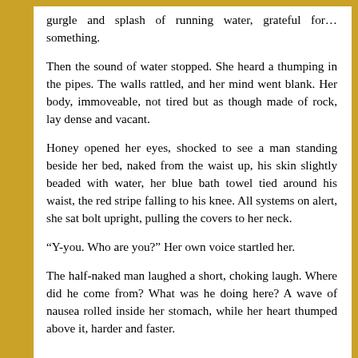gurgle and splash of running water, grateful for… something.
Then the sound of water stopped. She heard a thumping in the pipes. The walls rattled, and her mind went blank. Her body, immoveable, not tired but as though made of rock, lay dense and vacant.
Honey opened her eyes, shocked to see a man standing beside her bed, naked from the waist up, his skin slightly beaded with water, her blue bath towel tied around his waist, the red stripe falling to his knee. All systems on alert, she sat bolt upright, pulling the covers to her neck.
“Y-you. Who are you?” Her own voice startled her.
The half-naked man laughed a short, choking laugh. Where did he come from? What was he doing here? A wave of nausea rolled inside her stomach, while her heart thumped above it, harder and faster.